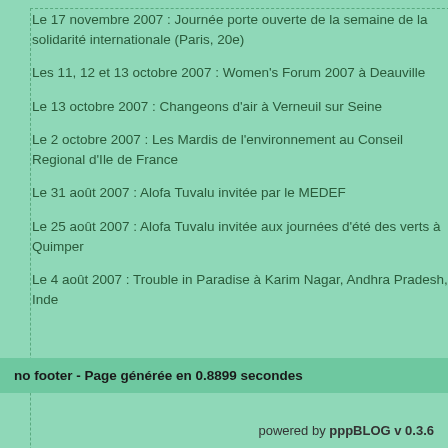Le 17 novembre 2007 : Journée porte ouverte de la semaine de la solidarité internationale (Paris, 20e)
Les 11, 12 et 13 octobre 2007 : Women's Forum 2007 à Deauville
Le 13 octobre 2007 : Changeons d'air à Verneuil sur Seine
Le 2 octobre 2007 : Les Mardis de l'environnement au Conseil Regional d'Ile de France
Le 31 août 2007 : Alofa Tuvalu invitée par le MEDEF
Le 25 août 2007 : Alofa Tuvalu invitée aux journées d'été des verts à Quimper
Le 4 août 2007 : Trouble in Paradise à Karim Nagar, Andhra Pradesh, Inde
no footer - Page générée en 0.8899 secondes
powered by pppBLOG v 0.3.6